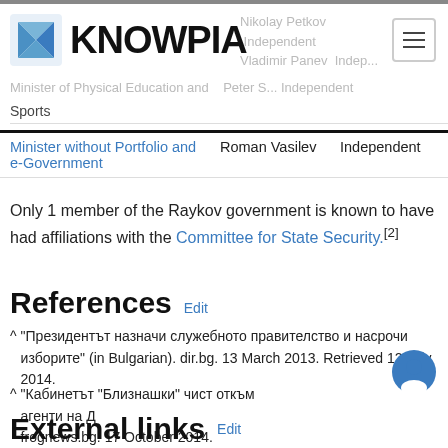KNOWPIA
| Role | Name | Party |
| --- | --- | --- |
| Minister of Physical Education and Sports |  | Independent |
| Minister without Portfolio and e-Government | Roman Vasilev | Independent |
Only 1 member of the Raykov government is known to have had affiliations with the Committee for State Security.[2]
References Edit
^ "Президентът назначи служебното правителство и насрочи изборите" (in Bulgarian). dir.bg. 13 March 2013. Retrieved 12 July 2014.
^ "Кабинетът "Близнашки" чист откъм агенти на Д... frognews.bg. 17 October 2014.
External links Edit